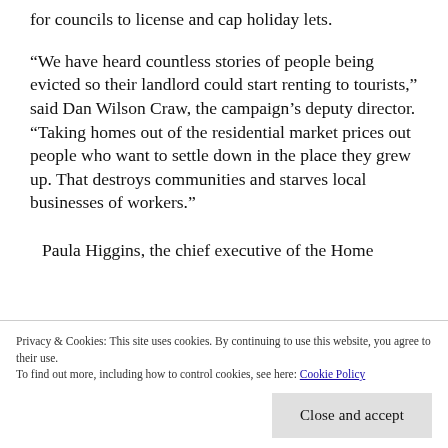for councils to license and cap holiday lets.
“We have heard countless stories of people being evicted so their landlord could start renting to tourists,” said Dan Wilson Craw, the campaign’s deputy director. “Taking homes out of the residential market prices out people who want to settle down in the place they grew up. That destroys communities and starves local businesses of workers.”
Earlier this month, the government
Privacy & Cookies: This site uses cookies. By continuing to use this website, you agree to their use. To find out more, including how to control cookies, see here: Cookie Policy
Paula Higgins, the chief executive of the Home